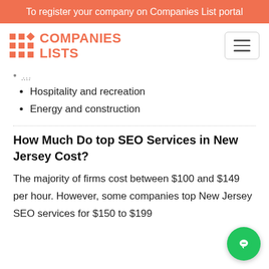To register your company on Companies List portal
[Figure (logo): Companies Lists logo with orange grid icon and orange bold text reading COMPANIES LISTS]
Hospitality and recreation
Energy and construction
How Much Do top SEO Services in New Jersey Cost?
The majority of firms cost between $100 and $149 per hour. However, some companies top New Jersey SEO services for $150 to $199